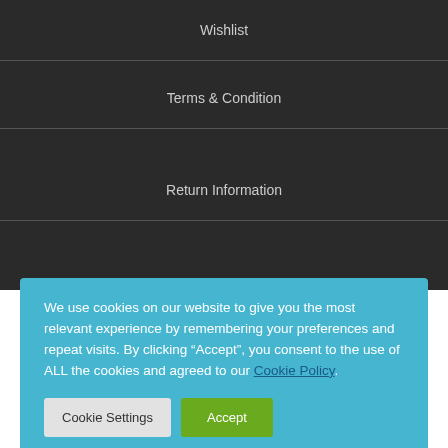Wishlist
Terms & Condition
Return Information
We use cookies on our website to give you the most relevant experience by remembering your preferences and repeat visits. By clicking “Accept”, you consent to the use of ALL the cookies and agreed to our Cookie Policy.
Cookie Settings
Accept
[Figure (illustration): Laptop/computer outline icon in white on blue background]
[Figure (illustration): Social media icons: Facebook circle, WhatsApp circle (green), LinkedIn circle]
[Figure (illustration): Payment method logos: VISA, PayPal, Maestro, MasterCard, JCB]
[Figure (illustration): Google reCAPTCHA badge with privacy and terms text]